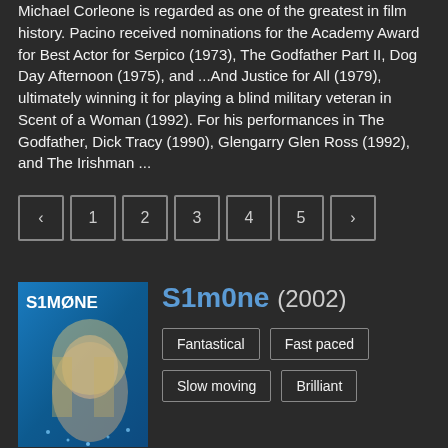Michael Corleone is regarded as one of the greatest in film history. Pacino received nominations for the Academy Award for Best Actor for Serpico (1973), The Godfather Part II, Dog Day Afternoon (1975), and ...And Justice for All (1979), ultimately winning it for playing a blind military veteran in Scent of a Woman (1992). For his performances in The Godfather, Dick Tracy (1990), Glengarry Glen Ross (1992), and The Irishman ...
Pagination: < 1 2 3 4 5 >
[Figure (photo): Movie poster for S1m0ne (2002) showing a blonde woman's face on a blue background with the title S1MØNE]
S1m0ne (2002)
Fantastical
Fast paced
Slow moving
Brilliant